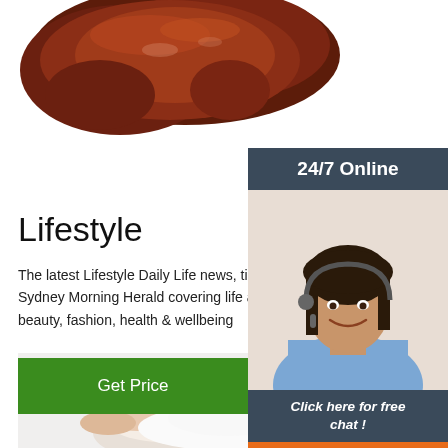[Figure (photo): Close-up photo of a dark reddish-brown liver organ on white background, top portion visible]
[Figure (photo): Advertisement banner: '24/7 Online' header in dark teal, female customer service representative with headset smiling, 'Click here for free chat!' text, orange QUOTATION button]
Lifestyle
The latest Lifestyle Daily Life news, tips, opinion from The Sydney Morning Herald covering life and relationships, beauty, fashion, health & wellbeing
Get Price
[Figure (photo): Bottom strip showing a hand holding or touching white powder/substance on white background, with orange TOP logo (dot-arc above letters) in bottom right]